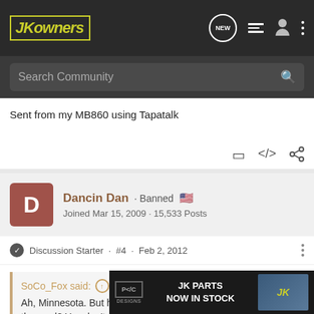JKOwners - Search Community
Sent from my MB860 using Tapatalk
Dancin Dan · Banned
Joined Mar 15, 2009 · 15,533 Posts
Discussion Starter · #4 · Feb 2, 2012
SoCo_Fox said:
Ah, Minnesota. But how, technically, is it a DWI if you're not on the road? You don't need a license for one.
The o... He was
[Figure (screenshot): JK PARTS NOW IN STOCK advertisement banner with PC Designs logo]